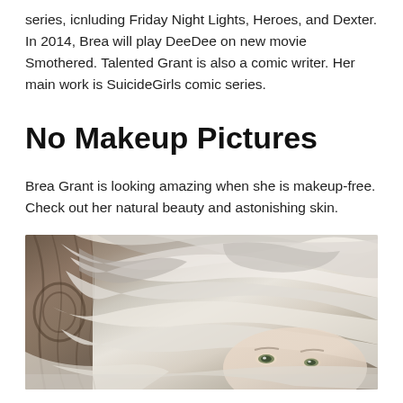series, icnluding Friday Night Lights, Heroes, and Dexter. In 2014, Brea will play DeeDee on new movie Smothered. Talented Grant is also a comic writer. Her main work is SuicideGirls comic series.
No Makeup Pictures
Brea Grant is looking amazing when she is makeup-free. Check out her natural beauty and astonishing skin.
[Figure (photo): Close-up photo of a woman with blonde/platinum hair streaked with grey highlights, green eyes, light skin, no makeup, in front of a wooden decorative background.]